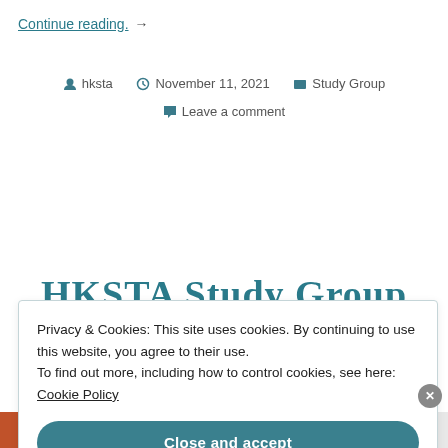Continue reading. →
hksta   November 11, 2021   Study Group
Leave a comment
HKSTA Study Group
Privacy & Cookies: This site uses cookies. By continuing to use this website, you agree to their use. To find out more, including how to control cookies, see here: Cookie Policy
Close and accept